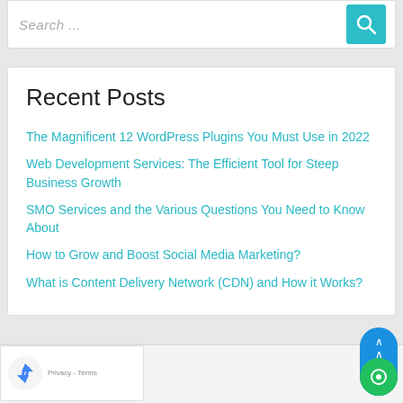[Figure (screenshot): Search widget with text input showing 'Search ...' placeholder and a teal search button with magnifying glass icon]
Recent Posts
The Magnificent 12 WordPress Plugins You Must Use in 2022
Web Development Services: The Efficient Tool for Steep Business Growth
SMO Services and the Various Questions You Need to Know About
How to Grow and Boost Social Media Marketing?
What is Content Delivery Network (CDN) and How it Works?
Categories